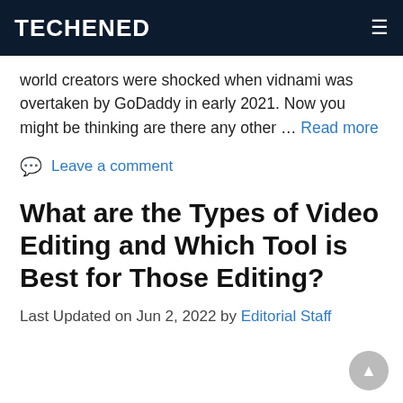TECHENED
world creators were shocked when vidnami was overtaken by GoDaddy in early 2021. Now you might be thinking are there any other … Read more
Leave a comment
What are the Types of Video Editing and Which Tool is Best for Those Editing?
Last Updated on Jun 2, 2022 by Editorial Staff